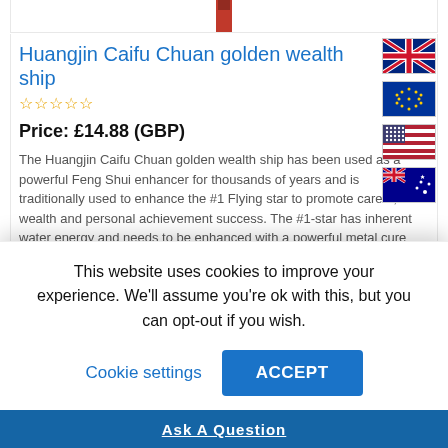[Figure (photo): Partial product image at top of page, cropped]
Huangjin Caifu Chuan golden wealth ship
☆☆☆☆☆
Price: £14.88 (GBP)
The Huangjin Caifu Chuan golden wealth ship has been used as a powerful Feng Shui enhancer for thousands of years and is traditionally used to enhance the #1 Flying star to promote career, wealth and personal achievement success. The #1-star has inherent water energy and needs to be enhanced with a powerful metal cure that promotes wealth and good luck and is ...
[Figure (illustration): UK flag icon]
[Figure (illustration): EU flag icon]
[Figure (illustration): US flag icon]
[Figure (illustration): Australia flag icon]
This website uses cookies to improve your experience. We'll assume you're ok with this, but you can opt-out if you wish.
Cookie settings
ACCEPT
Ask A Question